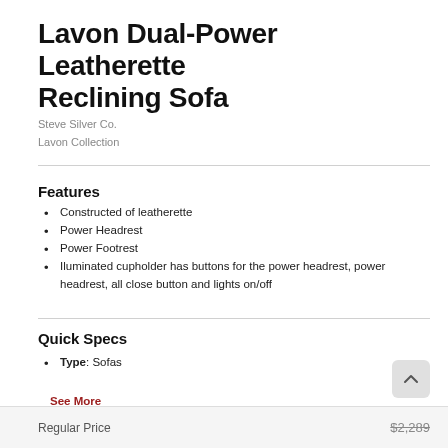Lavon Dual-Power Leatherette Reclining Sofa
Steve Silver Co.
Lavon Collection
Features
Constructed of leatherette
Power Headrest
Power Footrest
Iluminated cupholder has buttons for the power headrest, power headrest, all close button and lights on/off
Quick Specs
Type: Sofas
See More
Regular Price $2,289